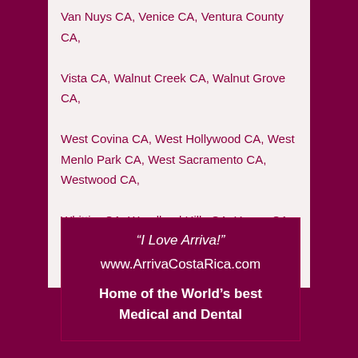Van Nuys CA, Venice CA, Ventura County CA, Vista CA, Walnut Creek CA, Walnut Grove CA, West Covina CA, West Hollywood CA, West Menlo Park CA, West Sacramento CA, Westwood CA, Whittier CA, Woodland Hills CA, Yermo CA, Yolo County CA, Yorba Linda CA, Yreka CA, Yuba City CA, Yucca Valley CA, Zenia CA.
“I Love Arriva!” www.ArrivaCostaRica.com Home of the World’s best Medical and Dental